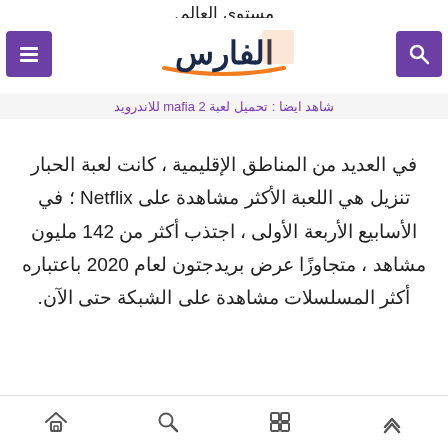مستوى العالم.
[Figure (logo): Al-Faris website logo with orange and dark blue Arabic text and underline graphic]
شاهد ايضا : تحميل لعبة mafia 2 للاندرويد
في العديد من المناطق الإقليمية ، كانت لعبة الحبار تنزيل هي اللعبة الأكثر مشاهدة على Netflix ؛ في الأسابيع الأربعة الأولى ، اجتذب أكثر من 142 مليون مشاهد ، متجاوزًا عرض بريدجتون لعام 2020 باعتباره أكثر المسلسلات مشاهدة على الشبكة حتى الآن.
[Figure (other): Bottom navigation bar with up-arrow, grid, search, and home icons]